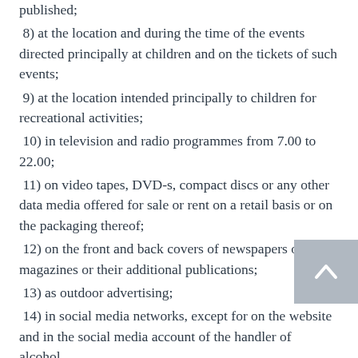published;
8) at the location and during the time of the events directed principally at children and on the tickets of such events;
9) at the location intended principally to children for recreational activities;
10) in television and radio programmes from 7.00 to 22.00;
11) on video tapes, DVD-s, compact discs or any other data media offered for sale or rent on a retail basis or on the packaging thereof;
12) on the front and back covers of newspapers or magazines or their additional publications;
13) as outdoor advertising;
14) in social media networks, except for on the website and in the social media account of the handler of alcohol.
The following shall be deemed to be prohibited advertising:
1) distribution of a product or printed matter related to alcohol to children;
2) when offering goods or services for